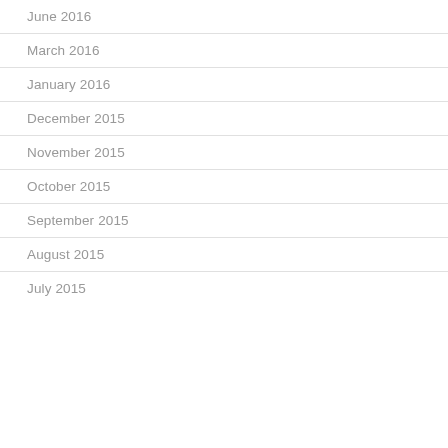June 2016
March 2016
January 2016
December 2015
November 2015
October 2015
September 2015
August 2015
July 2015